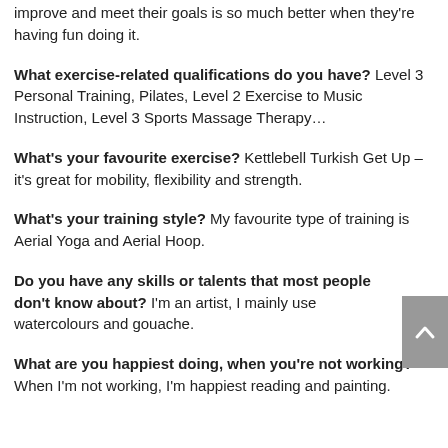improve and meet their goals is so much better when they're having fun doing it.
What exercise-related qualifications do you have? Level 3 Personal Training, Pilates, Level 2 Exercise to Music Instruction, Level 3 Sports Massage Therapy…
What's your favourite exercise? Kettlebell Turkish Get Up – it's great for mobility, flexibility and strength.
What's your training style? My favourite type of training is Aerial Yoga and Aerial Hoop.
Do you have any skills or talents that most people don't know about? I'm an artist, I mainly use watercolours and gouache.
What are you happiest doing, when you're not working? When I'm not working, I'm happiest reading and painting.